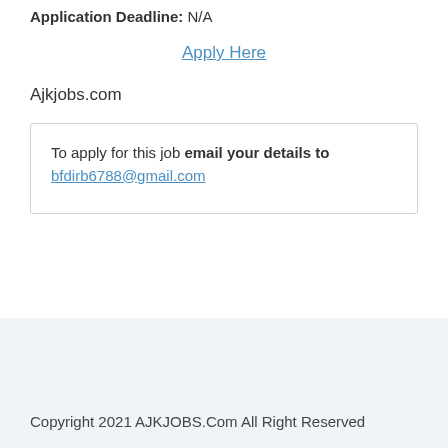Application Deadline: N/A
Apply Here
Ajkjobs.com
To apply for this job email your details to bfdirb6788@gmail.com
Copyright 2021 AJKJOBS.Com All Right Reserved